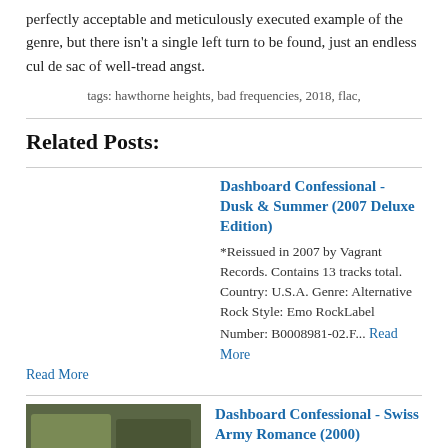perfectly acceptable and meticulously executed example of the genre, but there isn't a single left turn to be found, just an endless cul de sac of well-tread angst.
tags: hawthorne heights, bad frequencies, 2018, flac,
Related Posts:
Dashboard Confessional - Dusk & Summer (2007 Deluxe Edition)
*Reissued in 2007 by Vagrant Records. Contains 13 tracks total. Country: U.S.A. Genre: Alternative Rock Style: Emo RockLabel Number: B0008981-02.F... Read More
Dashboard Confessional - Swiss Army Romance (2000)
Country: U.S.A. Genre: Acoustic RockLabel Number: FR0011.FLAC via Florenfile.AAC 256 kbps via Florenfile © 2000 Fidler Records AllMusic Review by... Read More
Dashboard Confessional - The Places You Have